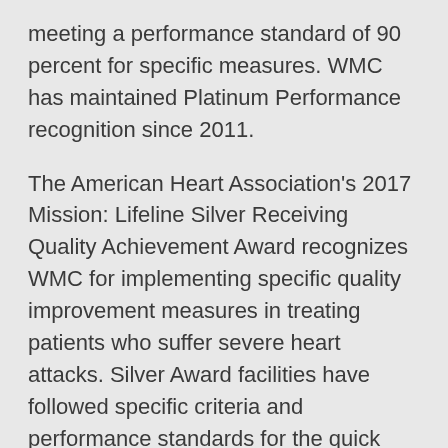meeting a performance standard of 90 percent for specific measures. WMC has maintained Platinum Performance recognition since 2011.
The American Heart Association's 2017 Mission: Lifeline Silver Receiving Quality Achievement Award recognizes WMC for implementing specific quality improvement measures in treating patients who suffer severe heart attacks. Silver Award facilities have followed specific criteria and performance standards for the quick and appropriate treatment of STEMI patients for one calendar year. STEMI, or ST Elevation Myocardial Infarction, is a type of heart attack caused by a